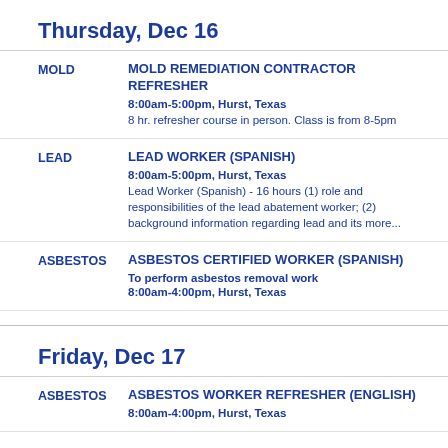Thursday, Dec 16
MOLD | MOLD REMEDIATION CONTRACTOR REFRESHER | 8:00am-5:00pm, Hurst, Texas | 8 hr. refresher course in person. Class is from 8-5pm
LEAD | LEAD WORKER (SPANISH) | 8:00am-5:00pm, Hurst, Texas | Lead Worker (Spanish) - 16 hours (1) role and responsibilities of the lead abatement worker; (2) background information regarding lead and its more...
ASBESTOS | ASBESTOS CERTIFIED WORKER (SPANISH) | To perform asbestos removal work | 8:00am-4:00pm, Hurst, Texas
Friday, Dec 17
ASBESTOS | ASBESTOS WORKER REFRESHER (ENGLISH) | 8:00am-4:00pm, Hurst, Texas